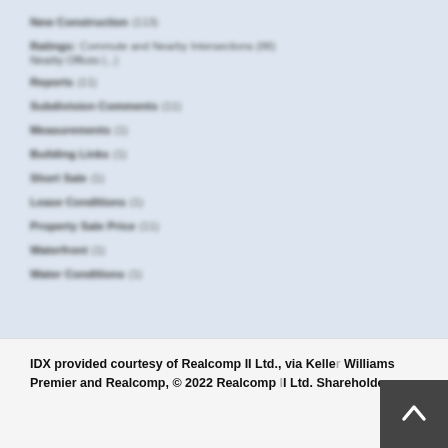New Construction (113)
Ratings: Commute and Nearby Intersections (88) Nearby Offices (...)
Reports (11)
Subdivision Comments (11)
Measurements (1)
Building Links (1)
Short Sale (1)
Lease Conditions (1)
Property Sale Price (11)
Waterfront (1)
Water Conditions (1)
IDX provided courtesy of Realcomp II Ltd., via Keller Williams Premier and Realcomp, © 2022 Realcomp II Ltd. Shareholders.